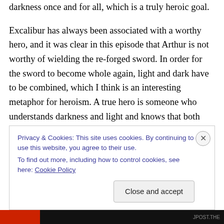darkness once and for all, which is a truly heroic goal.
Excalibur has always been associated with a worthy hero, and it was clear in this episode that Arthur is not worthy of wielding the re-forged sword. In order for the sword to become whole again, light and dark have to be combined, which I think is an interesting metaphor for heroism. A true hero is someone who understands darkness and light and knows that both exist in every person. A true hero chooses to be their best self and not their worst with full knowledge of both. While Arthur seems obsessed with maintaining the
Privacy & Cookies: This site uses cookies. By continuing to use this website, you agree to their use.
To find out more, including how to control cookies, see here: Cookie Policy
Close and accept